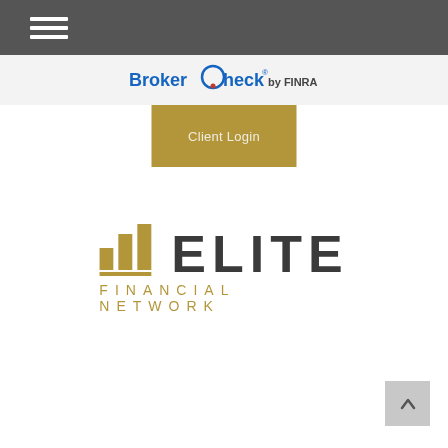Navigation menu (hamburger icon)
[Figure (logo): BrokerCheck by FINRA logo with blue and red text and circular O graphic]
Client Login
[Figure (logo): Elite Financial Network logo with gold bar chart icon and dark grey ELITE text and gold FINANCIAL NETWORK subtitle]